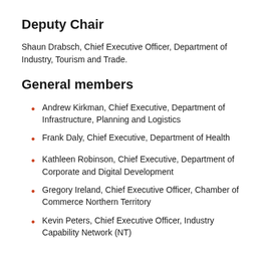Deputy Chair
Shaun Drabsch, Chief Executive Officer, Department of Industry, Tourism and Trade.
General members
Andrew Kirkman, Chief Executive, Department of Infrastructure, Planning and Logistics
Frank Daly, Chief Executive, Department of Health
Kathleen Robinson, Chief Executive, Department of Corporate and Digital Development
Gregory Ireland, Chief Executive Officer, Chamber of Commerce Northern Territory
Kevin Peters, Chief Executive Officer, Industry Capability Network (NT)